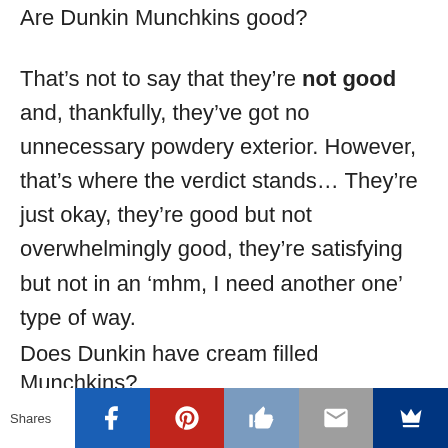Are Dunkin Munchkins good?
That’s not to say that they’re not good and, thankfully, they’ve got no unnecessary powdery exterior. However, that’s where the verdict stands… They’re just okay, they’re good but not overwhelmingly good, they’re satisfying but not in an ‘mhm, I need another one’ type of way.
Does Dunkin have cream filled Munchkins?
A bite-sized version of Dunkin’s Boston
Shares